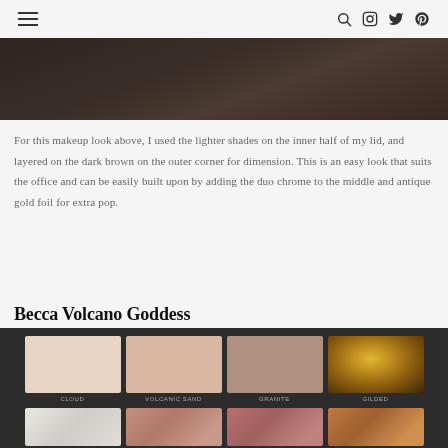Navigation header with hamburger menu and icons (search, instagram, twitter, pinterest)
[Figure (photo): Dark brown background close-up photo, partial face/hair]
For this makeup look above, I used the lighter shades on the inner half of my lid, and layered on the dark brown on the outer corner for dimension.  This is an easy look that suits the office and can be easily built upon by adding the duo chrome to the middle and antique gold foil for extra pop.
Becca Volcano Goddess
[Figure (photo): Becca Volcano Goddess eyeshadow palette showing four shades in top row: Cloud, Volcanic Sand, Granite, Gilded; and partial view of bottom row with rose gold and copper glitter shades]